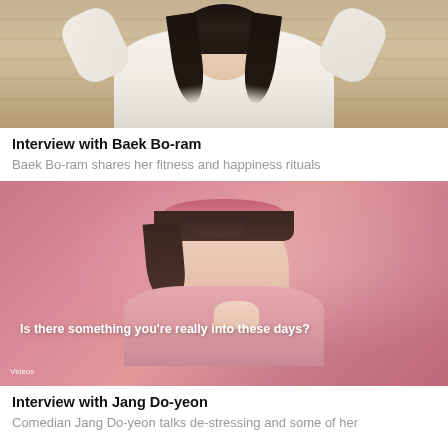[Figure (photo): A woman in a white blazer with long dark hair, arms raised, sitting in front of a wooden wall background - video thumbnail for Baek Bo-ram interview]
Interview with Baek Bo-ram
Baek Bo-ram shares her fitness and happiness rituals
[Figure (photo): A woman with a pink headband on a pink background, wearing pink clothing, looking thoughtfully at camera. Subtitle text reads: Is there something you're really into these days? Tag label: Videos - video thumbnail for Jang Do-yeon interview]
Interview with Jang Do-yeon
Comedian Jang Do-yeon talks de-stressing and some of her